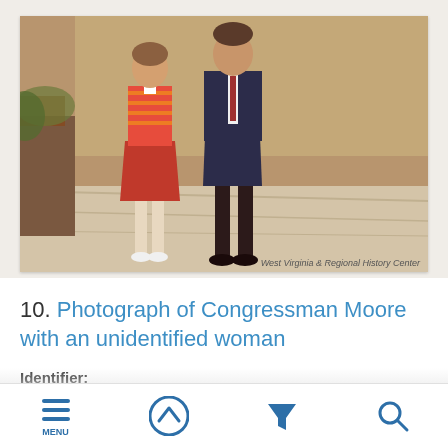[Figure (photo): Historical photograph showing two people standing outdoors on a paved walkway. A woman on the left wearing an orange/red striped jacket and skirt, and a taller man on the right in a dark suit. Foliage visible in background. Watermark: West Virginia & Regional History Center.]
West Virginia & Regional History Center
10. Photograph of Congressman Moore with an unidentified woman
Identifier: am2862_moore_0200
MENU